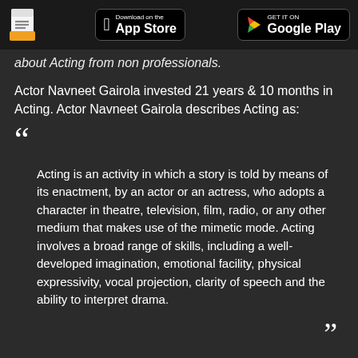Document icon | Download on the App Store | GET IT ON Google Play
about Acting from non professionals.
Actor Navneet Gairola invested 21 years & 10 months in Acting. Actor Navneet Gairola describes Acting as:
““ Acting is an activity in which a story is told by means of its enactment, by an actor or an actress, who adopts a character in theatre, television, film, radio, or any other medium that makes use of the mimetic mode. Acting involves a broad range of skills, including a well-developed imagination, emotional facility, physical expressivity, vocal projection, clarity of speech and the ability to interpret drama. ””